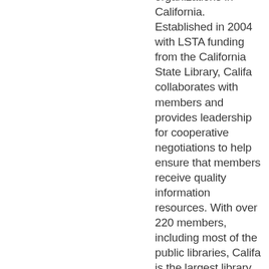organizations in California. Established in 2004 with LSTA funding from the California State Library, Califa collaborates with members and provides leadership for cooperative negotiations to help ensure that members receive quality information resources. With over 220 members, including most of the public libraries, Califa is the largest library network in California. Califa's membership includes all sizes and types of libraries – academic,